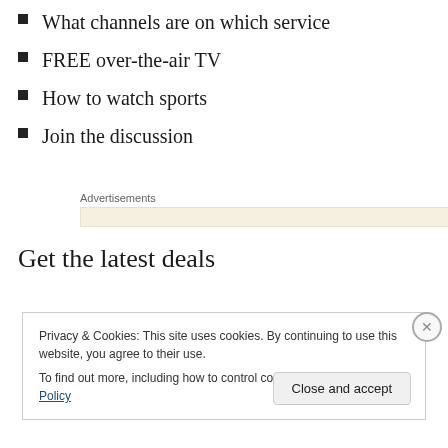What channels are on which service
FREE over-the-air TV
How to watch sports
Join the discussion
Advertisements
Get the latest deals
Privacy & Cookies: This site uses cookies. By continuing to use this website, you agree to their use.
To find out more, including how to control cookies, see here: Cookie Policy